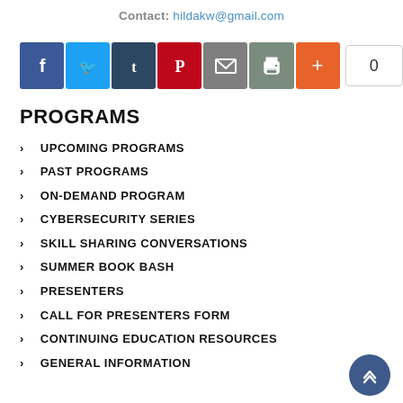Contact: hildakw@gmail.com
[Figure (other): Social media sharing buttons: Facebook (blue), Twitter (light blue), Tumblr (dark blue), Pinterest (red), Email (grey), Print (grey), Plus/More (orange-red), and a share counter showing 0]
PROGRAMS
UPCOMING PROGRAMS
PAST PROGRAMS
ON-DEMAND PROGRAM
CYBERSECURITY SERIES
SKILL SHARING CONVERSATIONS
SUMMER BOOK BASH
PRESENTERS
CALL FOR PRESENTERS FORM
CONTINUING EDUCATION RESOURCES
GENERAL INFORMATION